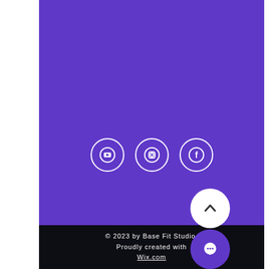[Figure (illustration): Purple background section with social media icons (YouTube, Instagram, Facebook) as white outlined circles]
[Figure (illustration): White circle button with upward chevron arrow (back to top button)]
[Figure (illustration): Purple circle button with chat/message bubble icon]
© 2023 by Base Fit Studio. Proudly created with Wix.com